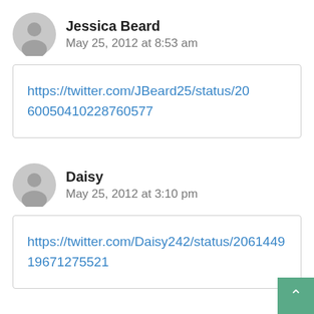Jessica Beard
May 25, 2012 at 8:53 am
https://twitter.com/JBeard25/status/206050410228760577
Daisy
May 25, 2012 at 3:10 pm
https://twitter.com/Daisy242/status/206144919671275521